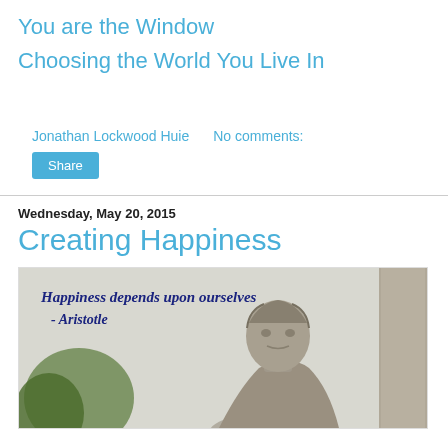You are the Window
Choosing the World You Live In
Jonathan Lockwood Huie    No comments:
Share
Wednesday, May 20, 2015
Creating Happiness
[Figure (photo): Photo of an Aristotle statue with overlaid quote: 'Happiness depends upon ourselves - Aristotle' in bold italic dark blue text. The statue shows a classical male bust with stone or concrete texture, with greenery visible in the background.]